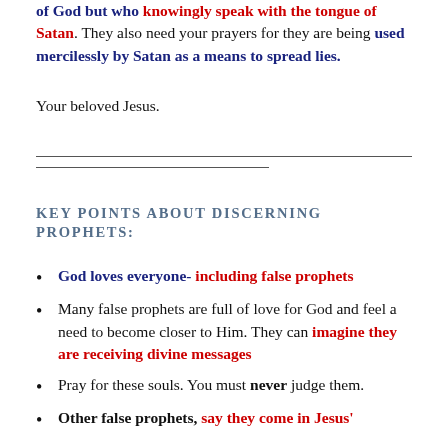of God but who knowingly speak with the tongue of Satan. They also need your prayers for they are being used mercilessly by Satan as a means to spread lies.
Your beloved Jesus.
KEY POINTS ABOUT DISCERNING PROPHETS:
God loves everyone- including false prophets
Many false prophets are full of love for God and feel a need to become closer to Him. They can imagine they are receiving divine messages
Pray for these souls. You must never judge them.
Other false prophets, say they come in Jesus'